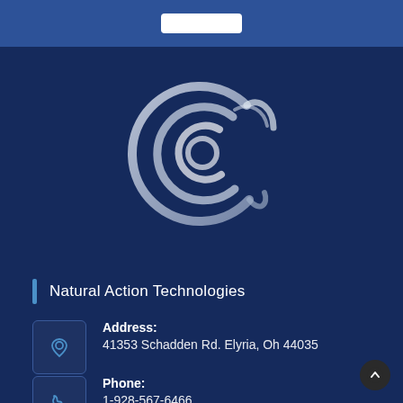[Figure (logo): Silver spiral/swirl logo of Natural Action Technologies on dark navy blue background]
Natural Action Technologies
Address:
41353 Schadden Rd. Elyria, Oh 44035
Phone:
1-928-567-6466
Website:
naturalaction.com